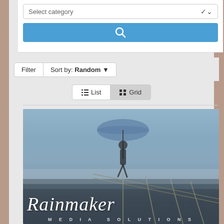[Figure (screenshot): Web UI showing a category dropdown selector with 'Select category' placeholder, a blue search button with magnifying glass icon, a Filter and Sort by Random dropdown, List and Grid view toggle buttons (Grid selected), a horizontal divider, and a Rainmaker Media Solutions promotional image showing a blurred woman with umbrella on a pier with the word 'Rainmaker' in script and 'MEDIA SOLUTIONS' text below.]